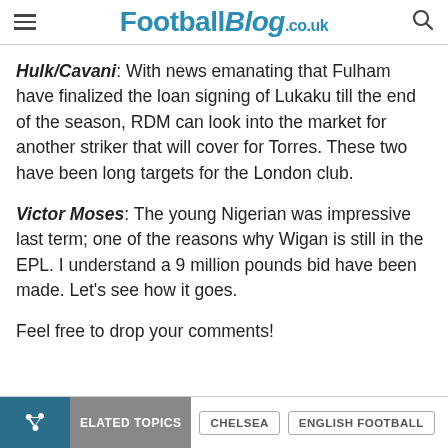FootballBlog.co.uk
Hulk/Cavani: With news emanating that Fulham have finalized the loan signing of Lukaku till the end of the season, RDM can look into the market for another striker that will cover for Torres. These two have been long targets for the London club.
Victor Moses: The young Nigerian was impressive last term; one of the reasons why Wigan is still in the EPL. I understand a 9 million pounds bid have been made. Let’s see how it goes.
Feel free to drop your comments!
RELATED TOPICS   CHELSEA   ENGLISH FOOTBALL